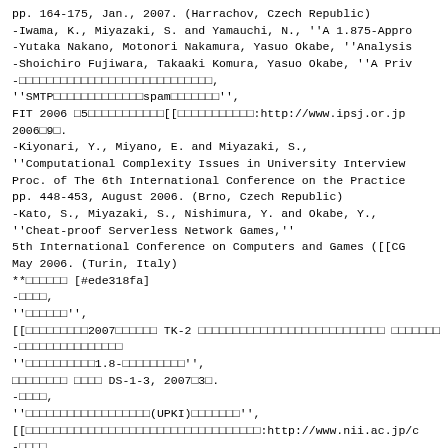pp. 164-175, Jan., 2007. (Harrachov, Czech Republic)
-Iwama, K., Miyazaki, S. and Yamauchi, N., ''A 1.875-Appro
-Yutaka Nakano, Motonori Nakamura, Yasuo Okabe, ''Analysis
-Shoichiro Fujiwara, Takaaki Komura, Yasuo Okabe, ''A Priv
-□□□□□□□□□□□□□□□□□□□□□□□□□□□□,
''SMTP□□□□□□□□□□□□□spam□□□□□□□'',
FIT 2006 □5□□□□□□□□□□□□[[□□□□□□□□□□□□:http://www.ipsj.or.jp
2006□9□.
-Kiyonari, Y., Miyano, E. and Miyazaki, S.,
''Computational Complexity Issues in University Interview
Proc. of The 6th International Conference on the Practice
pp. 448-453, August 2006. (Brno, Czech Republic)
-Kato, S., Miyazaki, S., Nishimura, Y. and Okabe, Y.,
''Cheat-proof Serverless Network Games,''
5th International Conference on Computers and Games ([[CG
May 2006. (Turin, Italy)
**□□□□□□ [#ede318fa]
-□□□□,
''□□□□□□'',
[[□□□□□□□□□2007□□□□□□ TK-2 □□□□□□□□□□□□□□□□□□□□□□□□□□□ □□□□□□□
-□□□□□□□□□□□□□□□
''□□□□□□□□□□1.8-□□□□□□□□□'',
□□□□□□□□ □□□□ DS-1-3, 2007□3□.
-□□□□,
''□□□□□□□□□□□□□□□□□□(UPKI)□□□□□□□'',
[[□□□□□□□□□□□□□□□□□□□□□□□□□□□□□□□□□□:http://www.nii.ac.jp/c
-□□□□,
''□□□□□□□□□□□□□□□□□□□□□□□□□□□□'',
[[□□□□□□□□□□□□□□□□□□□□□□□□□□□□□□□□□□:http://www.nii.ac.jp/c
-□□□□